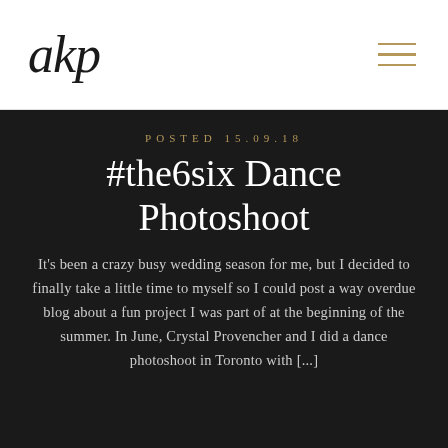akp
POSTED 15.09.18
#the6six Dance Photoshoot
It's been a crazy busy wedding season for me, but I decided to finally take a little time to myself so I could post a way overdue blog about a fun project I was part of at the beginning of the summer. In June, Crystal Provencher and I did a dance photoshoot in Toronto with [...]